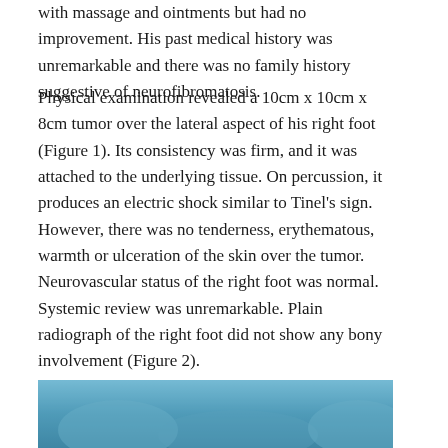with massage and ointments but had no improvement. His past medical history was unremarkable and there was no family history suggestive of neurofibromatosis.
Physical examination revealed a 10cm x 10cm x 8cm tumor over the lateral aspect of his right foot (Figure 1). Its consistency was firm, and it was attached to the underlying tissue. On percussion, it produces an electric shock similar to Tinel's sign. However, there was no tenderness, erythematous, warmth or ulceration of the skin over the tumor. Neurovascular status of the right foot was normal. Systemic review was unremarkable. Plain radiograph of the right foot did not show any bony involvement (Figure 2).
[Figure (photo): Partial photo visible at bottom of page, appears to be a clinical/medical image with blue tones]